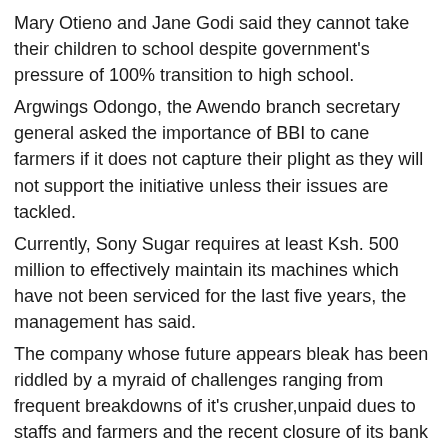Mary Otieno and Jane Godi said they cannot take their children to school despite government's pressure of 100% transition to high school.
Argwings Odongo, the Awendo branch secretary general asked the importance of BBI to cane farmers if it does not capture their plight as they will not support the initiative unless their issues are tackled.
Currently, Sony Sugar requires at least Ksh. 500 million to effectively maintain its machines which have not been serviced for the last five years, the management has said.
The company whose future appears bleak has been riddled by a myraid of challenges ranging from frequent breakdowns of it's crusher,unpaid dues to staffs and farmers and the recent closure of its bank accounts at cooperative bank.
The factory acting managing Director Stephen Ligawa blamed the woes bedeviling the firm on low production occasioned by lack of maintenance.